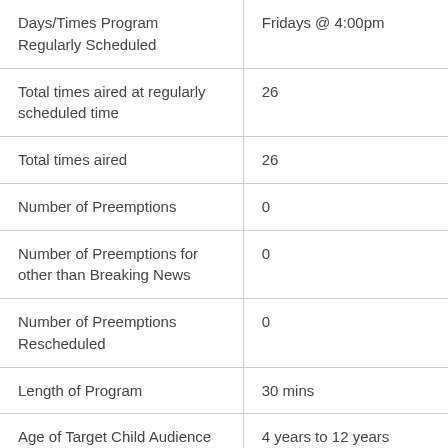| Days/Times Program Regularly Scheduled | Fridays @ 4:00pm |
| Total times aired at regularly scheduled time | 26 |
| Total times aired | 26 |
| Number of Preemptions | 0 |
| Number of Preemptions for other than Breaking News | 0 |
| Number of Preemptions Rescheduled | 0 |
| Length of Program | 30 mins |
| Age of Target Child Audience | 4 years to 12 years |